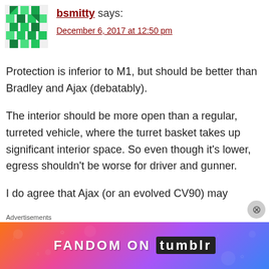[Figure (illustration): Green geometric/mosaic avatar for user bsmitty]
bsmitty says:
December 6, 2017 at 12:50 pm
Protection is inferior to M1, but should be better than Bradley and Ajax (debatably).
The interior should be more open than a regular, turreted vehicle, where the turret basket takes up significant interior space. So even though it’s lower, egress shouldn’t be worse for driver and gunner.
I do agree that Ajax (or an evolved CV90) may
Advertisements
[Figure (illustration): Fandom on Tumblr advertisement banner with colorful gradient background (orange, pink, purple, blue) and white decorative patterns. Text reads FANDOM ON tumblr in bold white/dark letters.]